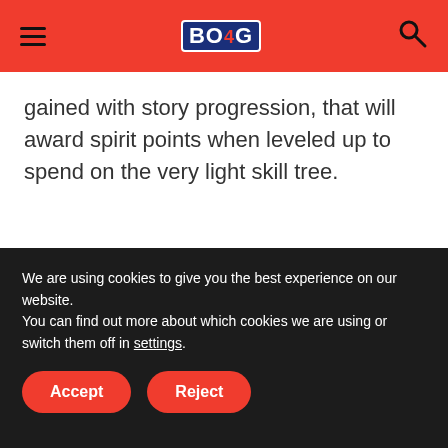BOYG [logo] [hamburger menu] [search icon]
gained with story progression, that will award spirit points when leveled up to spend on the very light skill tree.
We are using cookies to give you the best experience on our website.
You can find out more about which cookies we are using or switch them off in settings.